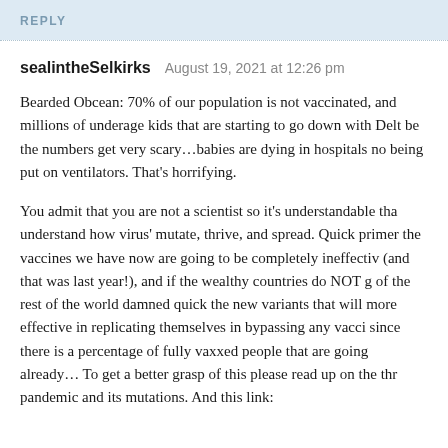REPLY
sealintheSelkirks   August 19, 2021 at 12:26 pm
Bearded Obcean: 70% of our population is not vaccinated, and millions of underage kids that are starting to go down with Delt be the numbers get very scary…babies are dying in hospitals no being put on ventilators. That's horrifying.
You admit that you are not a scientist so it's understandable tha understand how virus' mutate, thrive, and spread. Quick primer the vaccines we have now are going to be completely ineffectiv (and that was last year!), and if the wealthy countries do NOT g of the rest of the world damned quick the new variants that will more effective in replicating themselves in bypassing any vacci since there is a percentage of fully vaxxed people that are going already… To get a better grasp of this please read up on the thr pandemic and its mutations. And this link: